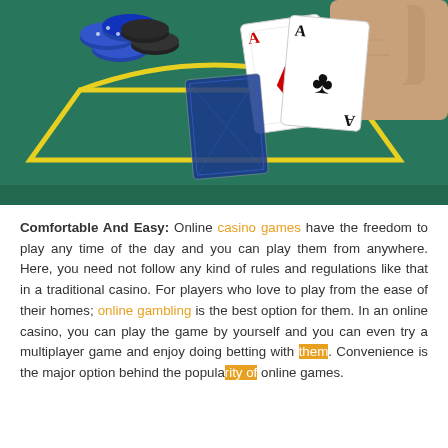[Figure (photo): Close-up photo of a hand holding two playing cards (Ace of Diamonds and Ace of Clubs) over a green casino felt table with yellow line markings and poker chips in the background.]
Comfortable And Easy: Online casino games have the freedom to play any time of the day and you can play them from anywhere. Here, you need not follow any kind of rules and regulations like that in a traditional casino. For players who love to play from the ease of their homes; online gambling is the best option for them. In an online casino, you can play the game by yourself and you can even try a multiplayer game and enjoy doing betting with them. Convenience is the major option behind the popularity of online games.